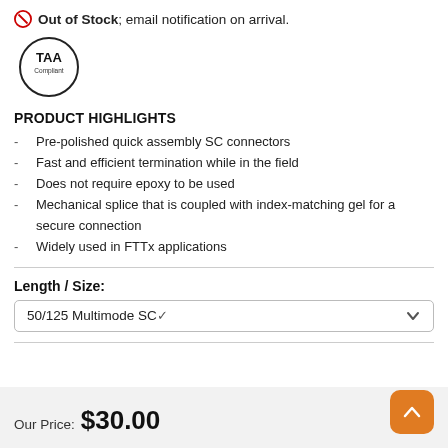⊗ Out of Stock; email notification on arrival.
[Figure (logo): TAA Compliant circular badge/logo]
PRODUCT HIGHLIGHTS
Pre-polished quick assembly SC connectors
Fast and efficient termination while in the field
Does not require epoxy to be used
Mechanical splice that is coupled with index-matching gel for a secure connection
Widely used in FTTx applications
Length / Size:
50/125 Multimode SC
Our Price: $30.00